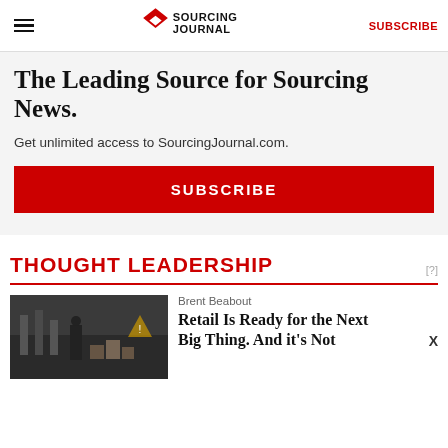Sourcing Journal | SUBSCRIBE
The Leading Source for Sourcing News.
Get unlimited access to SourcingJournal.com.
SUBSCRIBE
THOUGHT LEADERSHIP
[?]
Brent Beabout
Retail Is Ready for the Next Big Thing. And it's Not